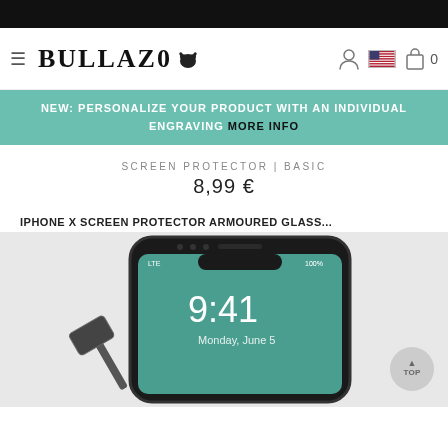[Figure (screenshot): Black top navigation bar]
BULLAZO
NEW: PERSONALIZE YOUR PRODUCT WITH AN INDIVIDUAL ENGRAVING MORE INFO
SCREEN PROTECTOR | BASIC
8,99 €
IPHONE X SCREEN PROTECTOR ARMOURED GLASS...
[Figure (photo): iPhone X with a black-bordered tempered glass screen protector applied, showing 9:41 Monday June 5 lock screen, with a hammer striking the glass in the lower left corner. A grey 'TOP' button is visible in the bottom right.]